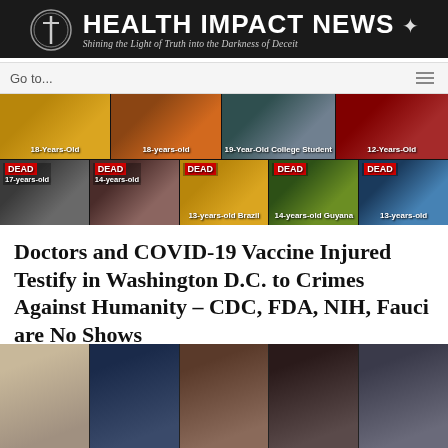[Figure (logo): Health Impact News logo banner with cross icon and star, tagline: Shining the Light of Truth into the Darkness of Deceit]
[Figure (photo): Navigation bar with Go to... dropdown and hamburger menu]
[Figure (photo): Grid of photos showing young people labeled with ages: 18-Years-Old, 18-years-old, 19-Year-Old College Student, 12-Years-Old (top row); DEAD 17-years-old, DEAD 14-years-old, DEAD 13-years-old Brazil, DEAD 14-years-old Guyana, DEAD 13-years-old (bottom row)]
Doctors and COVID-19 Vaccine Injured Testify in Washington D.C. to Crimes Against Humanity – CDC, FDA, NIH, Fauci are No Shows
[Figure (photo): Five people testifying or speaking at a hearing, shown in a horizontal strip]